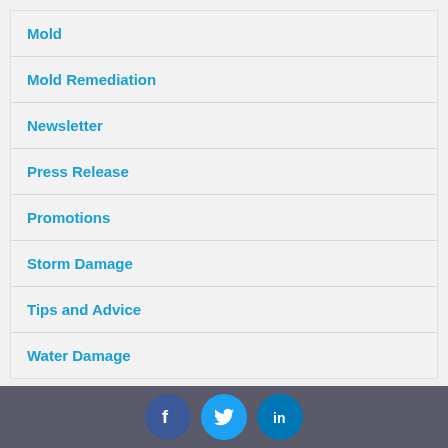Mold
Mold Remediation
Newsletter
Press Release
Promotions
Storm Damage
Tips and Advice
Water Damage
Jay Korsen
19 days ago